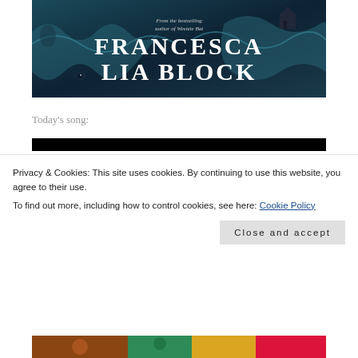[Figure (illustration): Book cover illustration for a Francesca Lia Block novel, showing dark blue ocean waves with text 'From the bestselling author of Weetzie Bat' and author name 'FRANCESCA LIA BLOCK' in large white serif letters on a dark teal/navy background with wave and fantasy imagery.]
Today's song:
[Figure (screenshot): Black bar, likely a video or media embed placeholder.]
Privacy & Cookies: This site uses cookies. By continuing to use this website, you agree to their use.
To find out more, including how to control cookies, see here: Cookie Policy
Close and accept
[Figure (illustration): Colorful illustration at bottom of page, partially visible, appears to show a figure.]